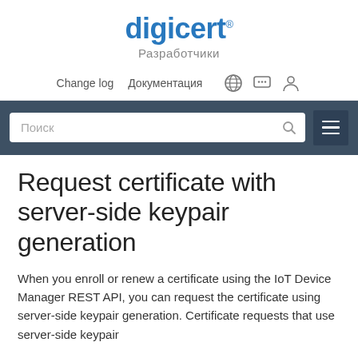digicert® Разработчики
Change log  Документация
[Figure (screenshot): Navigation bar with search input field showing 'Поиск' placeholder and a hamburger menu button on dark blue-grey background]
Request certificate with server-side keypair generation
When you enroll or renew a certificate using the IoT Device Manager REST API, you can request the certificate using server-side keypair generation. Certificate requests that use server-side keypair